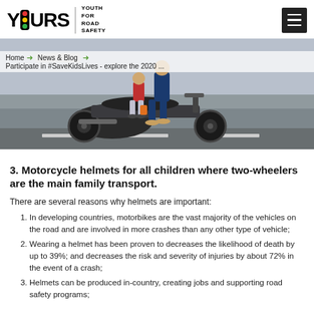YOURS | YOUTH FOR ROAD SAFETY
[Figure (photo): Photo of multiple people riding on a motorcycle on a road, without helmets. Children visible on the bike.]
Home → News & Blog → Participate in #SaveKidsLives - explore the 2020 ...
3. Motorcycle helmets for all children where two-wheelers are the main family transport.
There are several reasons why helmets are important:
In developing countries, motorbikes are the vast majority of the vehicles on the road and are involved in more crashes than any other type of vehicle;
Wearing a helmet has been proven to decreases the likelihood of death by up to 39%; and decreases the risk and severity of injuries by about 72% in the event of a crash;
Helmets can be produced in-country, creating jobs and supporting road safety programs;